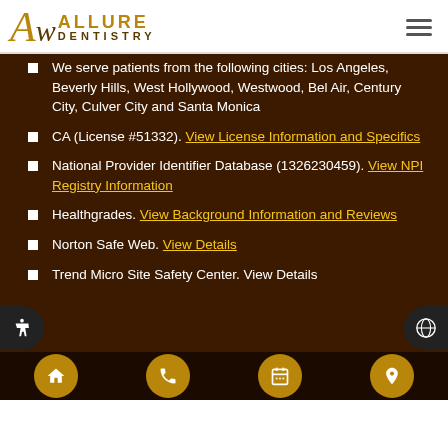Allure Dentistry
We serve patients from the following cities: Los Angeles, Beverly Hills, West Hollywood, Westwood, Bel Air, Century City, Culver City and Santa Monica
CA (License #51332). View License Information and Specifics
National Provider Identifier Database (1326230459). View NPI Registry Information
Healthgrades. View Background Information and Reviews
Norton Safe Web. View Details
Trend Micro Site Safety Center. View Details